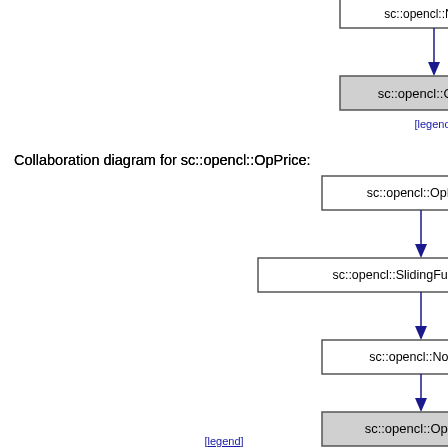[Figure (engineering-diagram): Inheritance diagram (top portion) showing sc::opencl::Normal at top with arrow pointing down to sc::opencl::OpPrice (shaded box), followed by [legend] link. Below that is a collaboration diagram for sc::opencl::OpPrice showing: sc::opencl::OpBase at top, arrow down to sc::opencl::SlidingFunctionBase, arrow down to sc::opencl::Normal, arrow down to sc::opencl::OpPrice (shaded box at bottom), followed by [legend] link.]
Collaboration diagram for sc::opencl::OpPrice:
[legend]